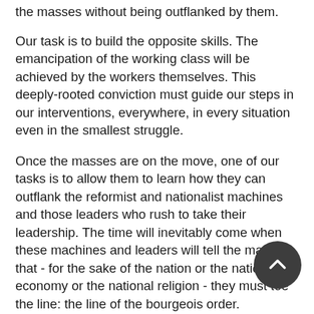the masses without being outflanked by them.
Our task is to build the opposite skills. The emancipation of the working class will be achieved by the workers themselves. This deeply-rooted conviction must guide our steps in our interventions, everywhere, in every situation even in the smallest struggle.
Once the masses are on the move, one of our tasks is to allow them to learn how they can outflank the reformist and nationalist machines and those leaders who rush to take their leadership. The time will inevitably come when these machines and leaders will tell the masses that - for the sake of the nation or the national economy or the national religion - they must toe the line: the line of the bourgeois order.
This may seem enormous given the weakness of the Trotskyists and of those among them who are conscious of this task. But its completion may be nearer than it has ever been, since the objective situation is now more favourable. It is now at least as favourable as it was for Lenin in 1902. Besides, there are circumstances in which the problem is